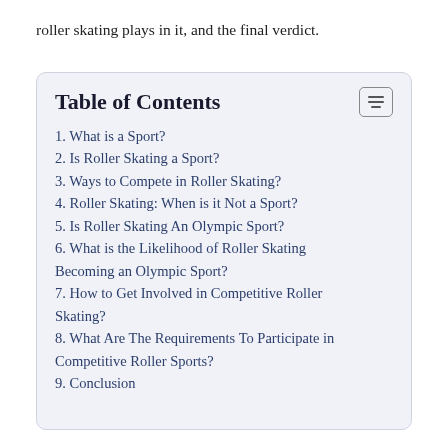roller skating plays in it, and the final verdict.
Table of Contents
1. What is a Sport?
2. Is Roller Skating a Sport?
3. Ways to Compete in Roller Skating?
4. Roller Skating: When is it Not a Sport?
5. Is Roller Skating An Olympic Sport?
6. What is the Likelihood of Roller Skating Becoming an Olympic Sport?
7. How to Get Involved in Competitive Roller Skating?
8. What Are The Requirements To Participate in Competitive Roller Sports?
9. Conclusion